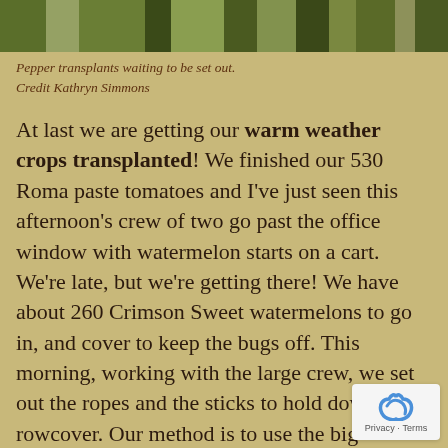[Figure (photo): Photo strip showing pepper transplants and seedlings in trays, viewed from above, in a greenhouse or outdoor nursery setting.]
Pepper transplants waiting to be set out.
Credit Kathryn Simmons
At last we are getting our warm weather crops transplanted! We finished our 530 Roma paste tomatoes and I've just seen this afternoon's crew of two go past the office window with watermelon starts on a cart. We're late, but we're getting there! We have about 260 Crimson Sweet watermelons to go in, and cover to keep the bugs off. This morning, working with the large crew, we set out the ropes and the sticks to hold down the rowcover. Our method is to use the big morning crews to harvest and to get ready whatever will be